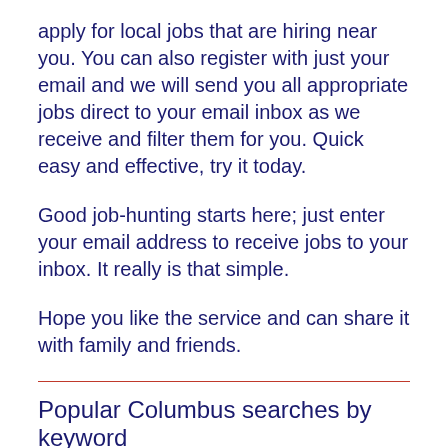apply for local jobs that are hiring near you. You can also register with just your email and we will send you all appropriate jobs direct to your email inbox as we receive and filter them for you. Quick easy and effective, try it today.
Good job-hunting starts here; just enter your email address to receive jobs to your inbox. It really is that simple.
Hope you like the service and can share it with family and friends.
Popular Columbus searches by keyword
part time
assistant
school
office